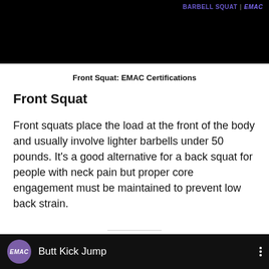[Figure (screenshot): Top portion of a black video thumbnail showing BARBELL SQUAT | EMAC text label in purple/blue color in the top right corner]
Front Squat: EMAC Certifications
Front Squat
Front squats place the load at the front of the body and usually involve lighter barbells under 50 pounds. It's a good alternative for a back squat for people with neck pain but proper core engagement must be maintained to prevent low back strain.
[Figure (screenshot): Bottom portion of a black video thumbnail showing EMAC logo (purple circle with italic EMAC text) and the title 'Butt Kick Jump' with three-dot menu icon on the right]